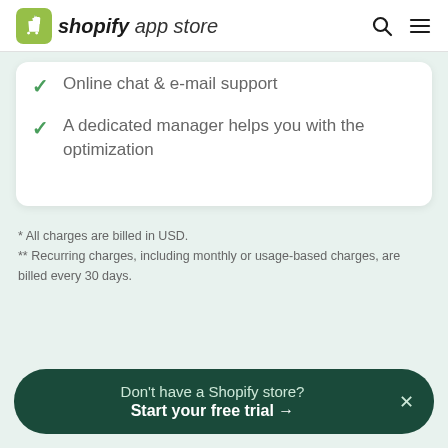shopify app store
Online chat & e-mail support
A dedicated manager helps you with the optimization
* All charges are billed in USD.
** Recurring charges, including monthly or usage-based charges, are billed every 30 days.
Don't have a Shopify store? Start your free trial →